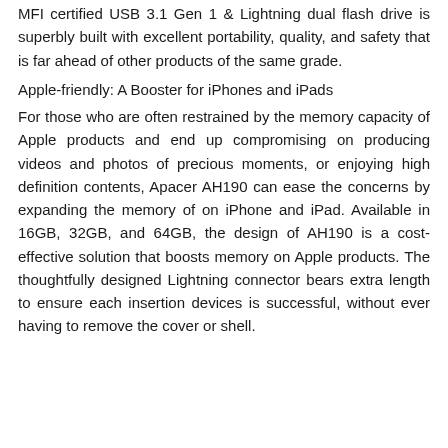MFI certified USB 3.1 Gen 1 & Lightning dual flash drive is superbly built with excellent portability, quality, and safety that is far ahead of other products of the same grade.
Apple-friendly: A Booster for iPhones and iPads
For those who are often restrained by the memory capacity of Apple products and end up compromising on producing videos and photos of precious moments, or enjoying high definition contents, Apacer AH190 can ease the concerns by expanding the memory of on iPhone and iPad. Available in 16GB, 32GB, and 64GB, the design of AH190 is a cost-effective solution that boosts memory on Apple products. The thoughtfully designed Lightning connector bears extra length to ensure each insertion devices is successful, without ever having to remove the cover or shell.